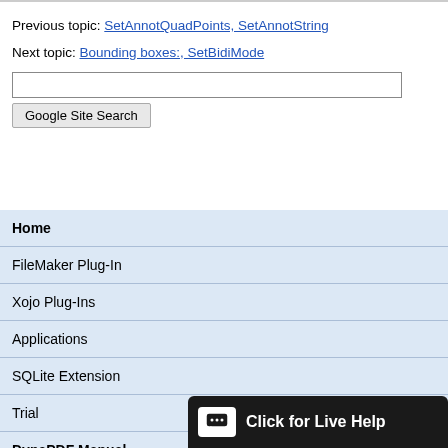Previous topic: SetAnnotQuadPoints, SetAnnotString
Next topic: Bounding boxes:, SetBidiMode
Google Site Search
Home
FileMaker Plug-In
Xojo Plug-Ins
Applications
SQLite Extension
Trial
DynaPDF Manual
Newsletter
Team
Services
Click for Live Help